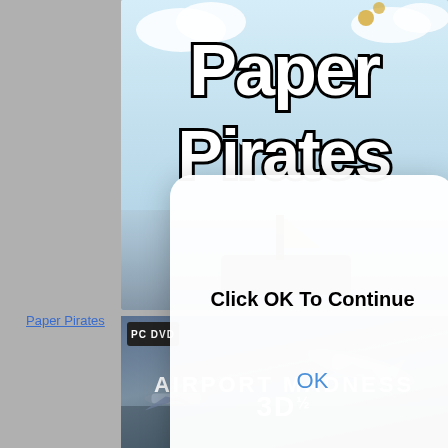[Figure (screenshot): Paper Pirates PC game cover art with stylized cartoon text on light blue background]
[Figure (screenshot): Dialog box overlay with white rounded rectangle showing 'Click OK To Continue' message and blue OK link]
Paper Pirates
[Figure (screenshot): Airport Madness 3D½ PC DVD game cover art with aircraft on blue-grey background]